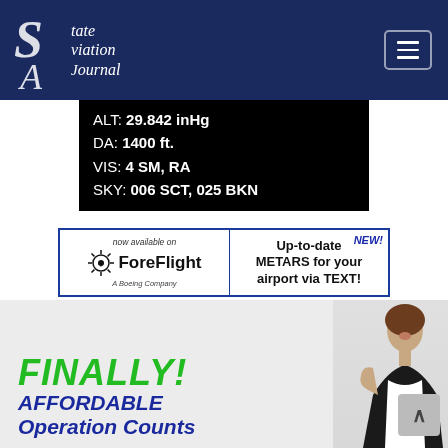State Aviation Journal
ALT: 29.842 inHg
DA: 1400 ft.
VIS: 4 SM, RA
SKY: 006 SCT, 025 BKN
[Figure (advertisement): ForeFlight advertisement - now available on ForeFlight A Boeing Company. Up-to-date NEW! METARS for your airport via TEXT!]
sayweather.com,  info@sayweather.com  (727) 260-7350
[Figure (advertisement): FINALLY! AFFORDABLE Operation Counts - with smiling woman in business attire]